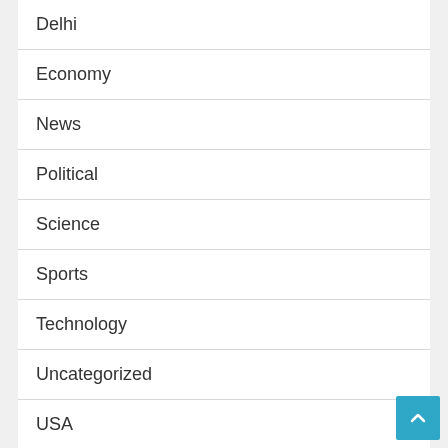Delhi
Economy
News
Political
Science
Sports
Technology
Uncategorized
USA